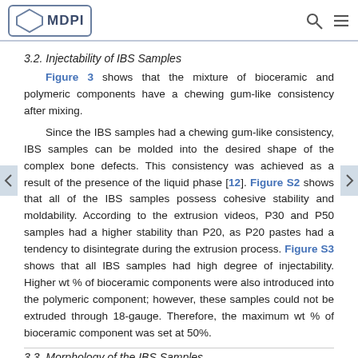MDPI
3.2. Injectability of IBS Samples
Figure 3 shows that the mixture of bioceramic and polymeric components have a chewing gum-like consistency after mixing.
Since the IBS samples had a chewing gum-like consistency, IBS samples can be molded into the desired shape of the complex bone defects. This consistency was achieved as a result of the presence of the liquid phase [12]. Figure S2 shows that all of the IBS samples possess cohesive stability and moldability. According to the extrusion videos, P30 and P50 samples had a higher stability than P20, as P20 pastes had a tendency to disintegrate during the extrusion process. Figure S3 shows that all IBS samples had high degree of injectability. Higher wt % of bioceramic components were also introduced into the polymeric component; however, these samples could not be extruded through 18-gauge. Therefore, the maximum wt % of bioceramic component was set at 50%.
3.3. Morphology of the IBS Samples